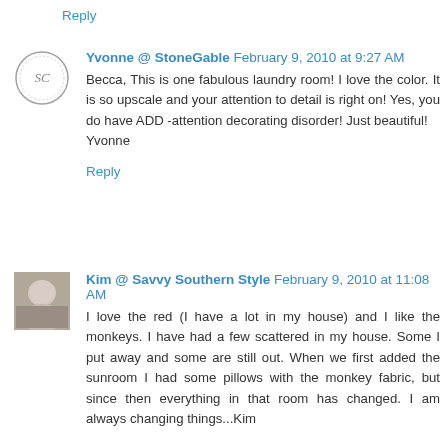Reply
Yvonne @ StoneGable  February 9, 2010 at 9:27 AM
Becca, This is one fabulous laundry room! I love the color. It is so upscale and your attention to detail is right on! Yes, you do have ADD -attention decorating disorder! Just beautiful!
Yvonne
Reply
Kim @ Savvy Southern Style  February 9, 2010 at 11:08 AM
I love the red (I have a lot in my house) and I like the monkeys. I have had a few scattered in my house. Some I put away and some are still out. When we first added the sunroom I had some pillows with the monkey fabric, but since then everything in that room has changed. I am always changing things...Kim